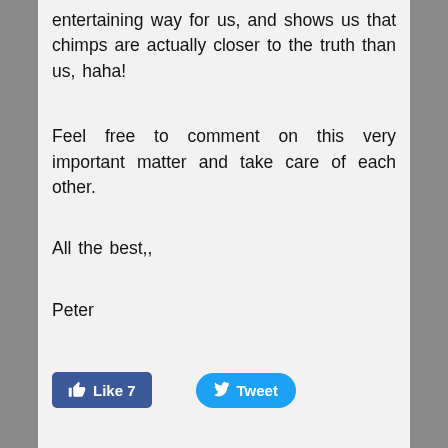entertaining way for us, and shows us that chimps are actually closer to the truth than us, haha!
Feel free to comment on this very important matter and take care of each other.
All the best,,
Peter
[Figure (screenshot): Social media buttons: a blue Facebook Like button showing 'Like 7' with thumbs up icon, and a blue Twitter Tweet button with bird icon.]